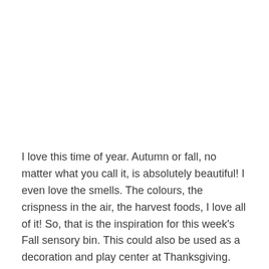I love this time of year. Autumn or fall, no matter what you call it, is absolutely beautiful! I even love the smells. The colours, the crispness in the air, the harvest foods, I love all of it! So, that is the inspiration for this week's Fall sensory bin. This could also be used as a decoration and play center at Thanksgiving.